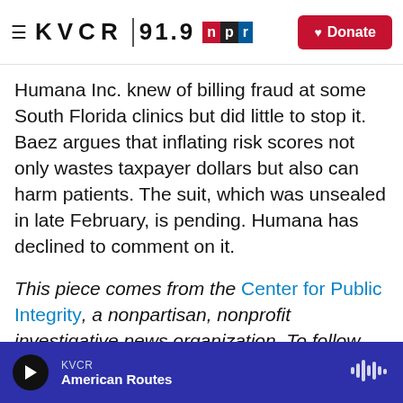≡ KVCR 91.9 npr [Donate]
Humana Inc. knew of billing fraud at some South Florida clinics but did little to stop it. Baez argues that inflating risk scores not only wastes taxpayer dollars but also can harm patients. The suit, which was unsealed in late February, is pending. Humana has declined to comment on it.
This piece comes from the Center for Public Integrity, a nonpartisan, nonprofit investigative news organization. To follow CPI's investigations into Medicare and Medicare Advantage waste, fraud and abuse, go here. You can follow Fred Schulte on Twitter: @fredschulte.
KVCR | American Routes